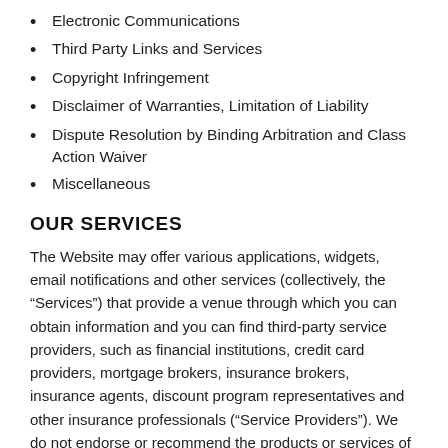Electronic Communications
Third Party Links and Services
Copyright Infringement
Disclaimer of Warranties, Limitation of Liability
Dispute Resolution by Binding Arbitration and Class Action Waiver
Miscellaneous
OUR SERVICES
The Website may offer various applications, widgets, email notifications and other services (collectively, the “Services”) that provide a venue through which you can obtain information and you can find third-party service providers, such as financial institutions, credit card providers, mortgage brokers, insurance brokers, insurance agents, discount program representatives and other insurance professionals (“Service Providers”). We do not endorse or recommend the products or services of any Service